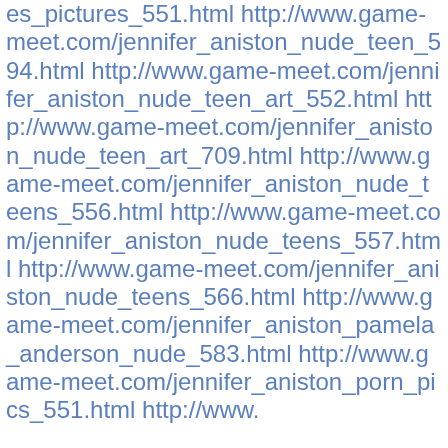es_pictures_551.html http://www.game-meet.com/jennifer_aniston_nude_teen_594.html http://www.game-meet.com/jennifer_aniston_nude_teen_art_552.html http://www.game-meet.com/jennifer_aniston_nude_teen_art_709.html http://www.game-meet.com/jennifer_aniston_nude_teens_556.html http://www.game-meet.com/jennifer_aniston_nude_teens_557.html http://www.game-meet.com/jennifer_aniston_nude_teens_566.html http://www.game-meet.com/jennifer_aniston_pamela_anderson_nude_583.html http://www.game-meet.com/jennifer_aniston_porn_pics_551.html http://www.